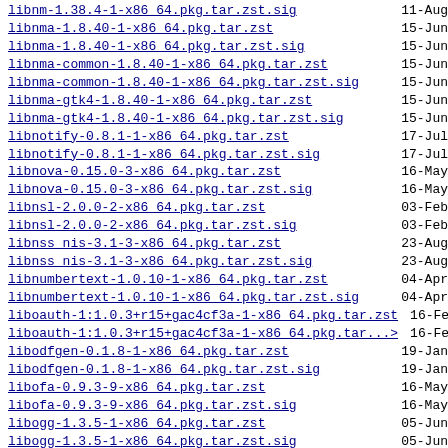libnm-1.38.4-1-x86_64.pkg.tar.zst.sig  11-Aug
libnma-1.8.40-1-x86_64.pkg.tar.zst  15-Jun
libnma-1.8.40-1-x86_64.pkg.tar.zst.sig  15-Jun
libnma-common-1.8.40-1-x86_64.pkg.tar.zst  15-Jun
libnma-common-1.8.40-1-x86_64.pkg.tar.zst.sig  15-Jun
libnma-gtk4-1.8.40-1-x86_64.pkg.tar.zst  15-Jun
libnma-gtk4-1.8.40-1-x86_64.pkg.tar.zst.sig  15-Jun
libnotify-0.8.1-1-x86_64.pkg.tar.zst  17-Jul
libnotify-0.8.1-1-x86_64.pkg.tar.zst.sig  17-Jul
libnova-0.15.0-3-x86_64.pkg.tar.zst  16-May
libnova-0.15.0-3-x86_64.pkg.tar.zst.sig  16-May
libnsl-2.0.0-2-x86_64.pkg.tar.zst  03-Feb
libnsl-2.0.0-2-x86_64.pkg.tar.zst.sig  03-Feb
libnss_nis-3.1-3-x86_64.pkg.tar.zst  23-Aug
libnss_nis-3.1-3-x86_64.pkg.tar.zst.sig  23-Aug
libnumbertext-1.0.10-1-x86_64.pkg.tar.zst  04-Apr
libnumbertext-1.0.10-1-x86_64.pkg.tar.zst.sig  04-Apr
liboauth-1:1.0.3+r15+gac4cf3a-1-x86_64.pkg.tar.zst  16-Feb
liboauth-1:1.0.3+r15+gac4cf3a-1-x86_64.pkg.tar...>  16-Feb
libodfgen-0.1.8-1-x86_64.pkg.tar.zst  19-Jan
libodfgen-0.1.8-1-x86_64.pkg.tar.zst.sig  19-Jan
libofa-0.9.3-9-x86_64.pkg.tar.zst  16-May
libofa-0.9.3-9-x86_64.pkg.tar.zst.sig  16-May
libogg-1.3.5-1-x86_64.pkg.tar.zst  05-Jun
libogg-1.3.5-1-x86_64.pkg.tar.zst.sig  05-Jun
libomxil-bellagio-0.9.3-3-x86_64.pkg.tar.zst  16-May
libomxil-bellagio-0.9.3-3-x86_64.pkg.tar.zst.sig  16-May
libopenmpt-0.6.4-1-x86_64.pkg.tar.zst  12-Jun
libopenmpt-0.6.4-1-x86_64.pkg.tar.zst.sig  12-Jun
liborcus-0.17.2-2-x86_64.pkg.tar.zst  13-Jun